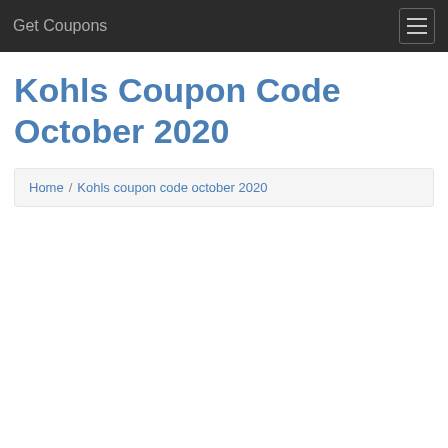Get Coupons
Kohls Coupon Code October 2020
Home / Kohls coupon code october 2020